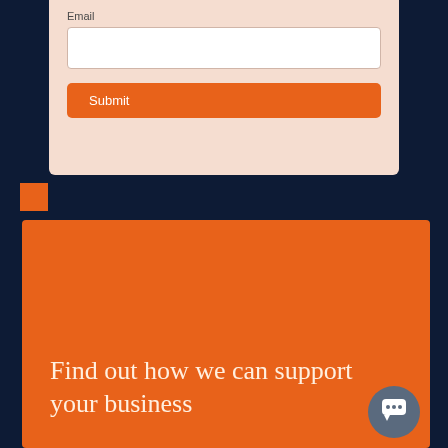Email
[Figure (screenshot): Email input field (white rectangle)]
Submit
[Figure (other): Small orange square decorative element]
Find out how we can support your business
[Figure (other): Chat bubble support icon button]